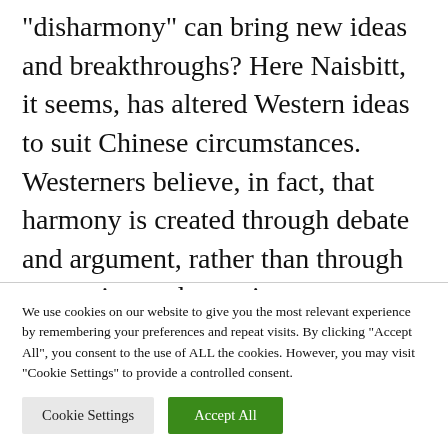“disharmony” can bring new ideas and breakthroughs? Here Naisbitt, it seems, has altered Western ideas to suit Chinese circumstances. Westerners believe, in fact, that harmony is created through debate and argument, rather than through repression and coercion. “Chinese leaders emerge differently than in
We use cookies on our website to give you the most relevant experience by remembering your preferences and repeat visits. By clicking “Accept All”, you consent to the use of ALL the cookies. However, you may visit "Cookie Settings" to provide a controlled consent.